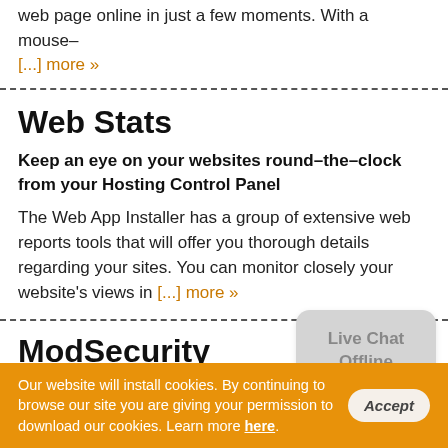web page online in just a few moments. With a mouse– [...] more »
Web Stats
Keep an eye on your websites round–the–clock from your Hosting Control Panel
The Web App Installer has a group of extensive web reports tools that will offer you thorough details regarding your sites. You can monitor closely your website's views in [...] more »
ModSecurity
A secure app firewall software
Live Chat Offline
Our website will install cookies. By continuing to browse our site you are giving your permission to download our cookies. Learn more here.